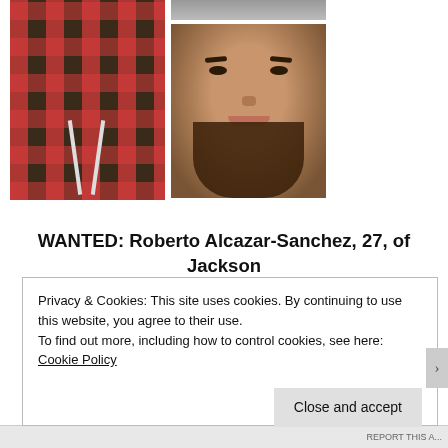[Figure (photo): Two photos side by side: left photo shows a person wearing a red plaid/flannel shirt; right column shows a small top image (partially visible) and a bottom close-up face photo of a young man with a beard and mustache, smiling.]
WANTED: Roberto Alcazar-Sanchez, 27, of Jackson
Privacy & Cookies: This site uses cookies. By continuing to use this website, you agree to their use.
To find out more, including how to control cookies, see here: Cookie Policy
Close and accept